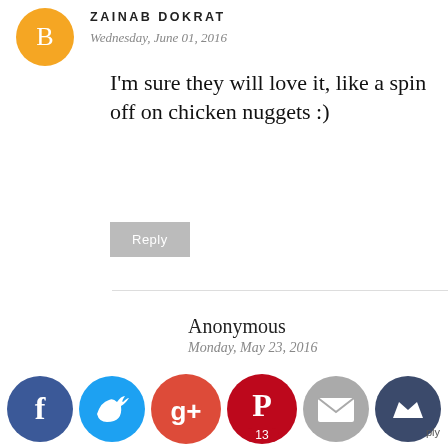[Figure (logo): Blogger orange circle avatar icon]
ZAINAB DOKRAT
Wednesday, June 01, 2016
I'm sure they will love it, like a spin off on chicken nuggets :)
Reply
Anonymous
Monday, May 23, 2016
Oh! After your Chicken Mint Sticks again an awesome chicken dish! Thats my kind of food. But what is portugese spice that ?
[Figure (infographic): Social share buttons: Facebook, Twitter, Google+, Pinterest (13), Email, Crown/other]
ply